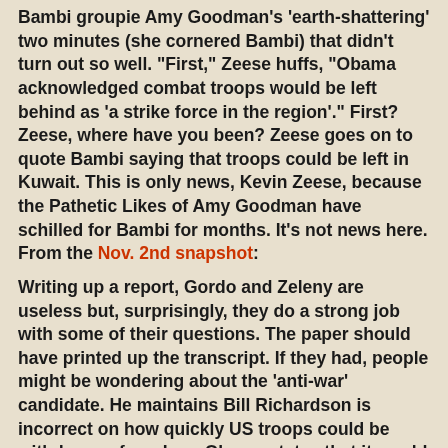Bambi groupie Amy Goodman's 'earth-shattering' two minutes (she cornered Bambi) that didn't turn out so well. "First," Zeese huffs, "Obama acknowledged combat troops would be left behind as 'a strike force in the region'." First? Zeese, where have you been? Zeese goes on to quote Bambi saying that troops could be left in Kuwait. This is only news, Kevin Zeese, because the Pathetic Likes of Amy Goodman have schilled for Bambi for months. It's not news here. From the Nov. 2nd snapshot:
Writing up a report, Gordo and Zeleny are useless but, surprisingly, they do a strong job with some of their questions. The paper should have printed up the transcript. If they had, people might be wondering about the 'anti-war' candidate. He maintains Bill Richardson is incorrect on how quickly US troops could be withdrawan from Iraq. Obama states that it would take at least 16 months which makes one wonder how long, if elected, it would take him to move into the White House? If you can grab a strainer or wade through Obama's Chicken Sop For The Soul, you grasp quickly